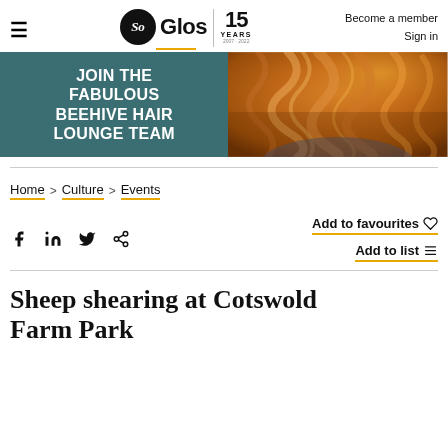≡   So Glos | 15 YEARS   Become a member Sign in
[Figure (illustration): Banner advertisement for Beehive Hair Lounge. Left side has teal/dark green background with white bold text reading JOIN THE FABULOUS BEEHIVE HAIR LOUNGE TEAM. Right side shows a photo of curly golden-auburn hair.]
Home > Culture > Events
Add to favourites ♡
Add to list ≡
Sheep shearing at Cotswold Farm Park